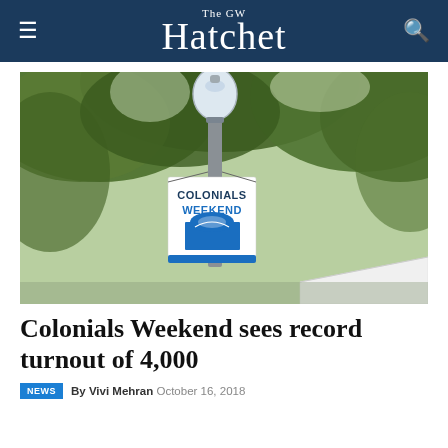The GW Hatchet
[Figure (photo): A lamp post on a GW campus with a banner reading 'COLONIALS WEEKEND' hanging from it, surrounded by green trees and a white tent in the background.]
Colonials Weekend sees record turnout of 4,000
By Vivi Mehran  October 16, 2018